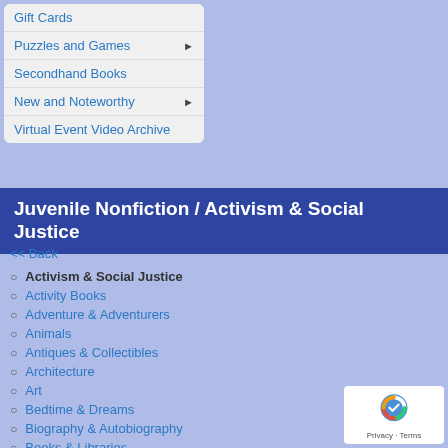Gift Cards
Puzzles and Games ▶
Secondhand Books
New and Noteworthy ▶
Virtual Event Video Archive
Juvenile Nonfiction / Activism & Social Justice
<< Back
Activism & Social Justice
Activity Books
Adventure & Adventurers
Animals
Antiques & Collectibles
Architecture
Art
Bedtime & Dreams
Biography & Autobiography
Books & Libraries
Boys & Men